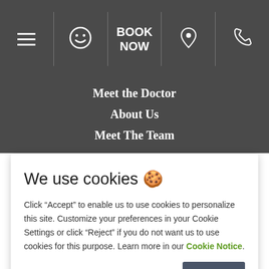BOOK NOW | navigation header with hamburger menu, smiley icon, book now, location pin, phone icons
Meet the Doctor
About Us
Meet The Team
We use cookies 🍪
Click "Accept" to enable us to use cookies to personalize this site. Customize your preferences in your Cookie Settings or click "Reject" if you do not want us to use cookies for this purpose. Learn more in our Cookie Notice.
Cookies settings
Accept